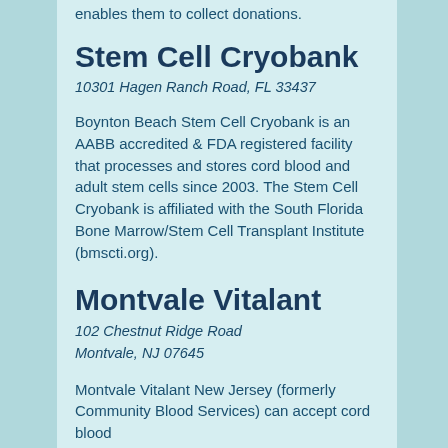enables them to collect donations.
Stem Cell Cryobank
10301 Hagen Ranch Road, FL 33437
Boynton Beach Stem Cell Cryobank is an AABB accredited & FDA registered facility that processes and stores cord blood and adult stem cells since 2003. The Stem Cell Cryobank is affiliated with the South Florida Bone Marrow/Stem Cell Transplant Institute (bmscti.org).
Montvale Vitalant
102 Chestnut Ridge Road
Montvale, NJ 07645
Montvale Vitalant New Jersey (formerly Community Blood Services) can accept cord blood